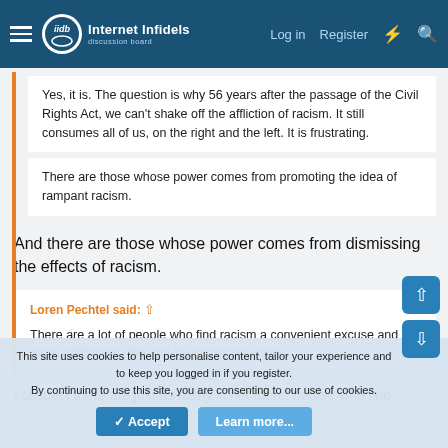Internet Infidels — Log in | Register
Yes, it is. The question is why 56 years after the passage of the Civil Rights Act, we can't shake off the affliction of racism. It still consumes all of us, on the right and the left. It is frustrating.
There are those whose power comes from promoting the idea of rampant racism.
And there are those whose power comes from dismissing the effects of racism.
Loren Pechtel said: ⊕
There are a lot of people who find racism a convenient excuse and avoid addressing the real, much harder issues.
I suspect there are just as many, if not more, people who find
This site uses cookies to help personalise content, tailor your experience and to keep you logged in if you register.
By continuing to use this site, you are consenting to our use of cookies.